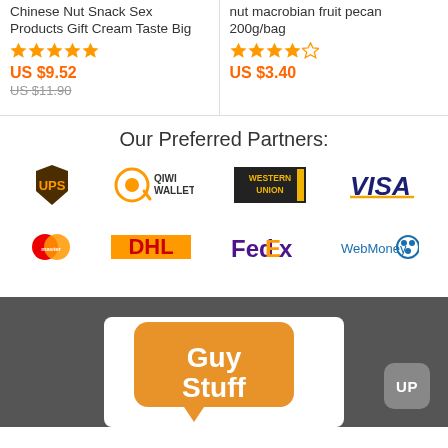Chinese Nut Snack Sex Products Gift Cream Taste Big
[Figure (other): 5-star rating (orange stars, fully filled)]
US $9.52
US $11.90 (strikethrough)
nut macrobian fruit pecan 200g/bag
[Figure (other): 4-star rating (orange, last star empty)]
US $3.40
Our Preferred Partners:
[Figure (logo): UPS logo]
[Figure (logo): QIWI Wallet logo]
[Figure (logo): Western Union logo]
[Figure (logo): VISA logo]
[Figure (logo): Mastercard logo]
[Figure (logo): DHL logo]
[Figure (logo): FedEx logo]
[Figure (logo): WebMoney logo]
[Figure (logo): GuyStuff logo on dark background with UP button]